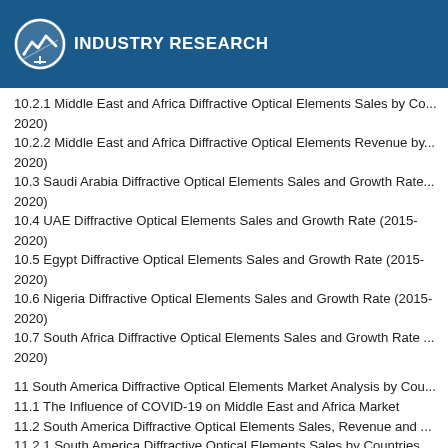INDUSTRY RESEARCH
10.2.1 Middle East and Africa Diffractive Optical Elements Sales by Countries (2015-2020)
10.2.2 Middle East and Africa Diffractive Optical Elements Revenue by Countries (2015-2020)
10.3 Saudi Arabia Diffractive Optical Elements Sales and Growth Rate (2015-2020)
10.4 UAE Diffractive Optical Elements Sales and Growth Rate (2015-2020)
10.5 Egypt Diffractive Optical Elements Sales and Growth Rate (2015-2020)
10.6 Nigeria Diffractive Optical Elements Sales and Growth Rate (2015-2020)
10.7 South Africa Diffractive Optical Elements Sales and Growth Rate (2015-2020)
11 South America Diffractive Optical Elements Market Analysis by Countries
11.1 The Influence of COVID-19 on Middle East and Africa Market
11.2 South America Diffractive Optical Elements Sales, Revenue and Growth Rate
11.2.1 South America Diffractive Optical Elements Sales by Countries (2015-2020)